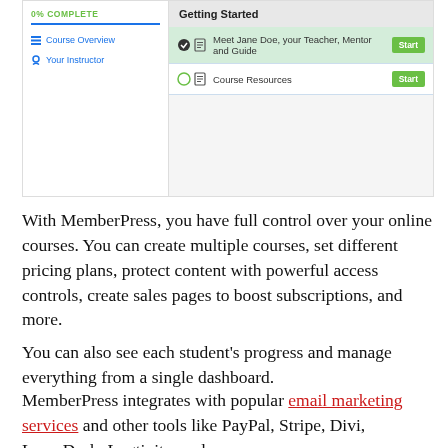[Figure (screenshot): Screenshot of an online course dashboard showing a left panel with Course Overview and Your Instructor menu items with 0% COMPLETE label, and a right panel with a Getting Started section listing Meet Jane Doe your Teacher Mentor and Guide with a Start button highlighted in green, and Course Resources with a Start button.]
With MemberPress, you have full control over your online courses. You can create multiple courses, set different pricing plans, protect content with powerful access controls, create sales pages to boost subscriptions, and more.
You can also see each student's progress and manage everything from a single dashboard.
MemberPress integrates with popular email marketing services and other tools like PayPal, Stripe, Divi, LearnDash, Logtivity, and many more.
Pricing: The Basic plan starts at $179 per year.